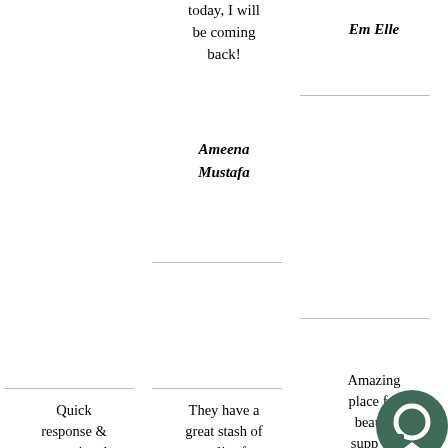today, I will be coming back!
Em Elle
Ameena Mustafa
Quick response & exceptional customer
They have a great stash of supplies for anything
Amazing place for beauty supplies Emily wonderful and